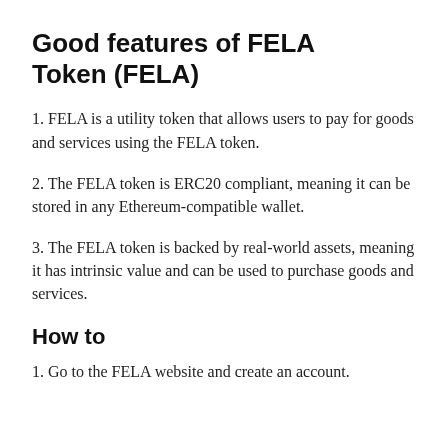Good features of FELA Token (FELA)
1. FELA is a utility token that allows users to pay for goods and services using the FELA token.
2. The FELA token is ERC20 compliant, meaning it can be stored in any Ethereum-compatible wallet.
3. The FELA token is backed by real-world assets, meaning it has intrinsic value and can be used to purchase goods and services.
How to
1. Go to the FELA website and create an account.